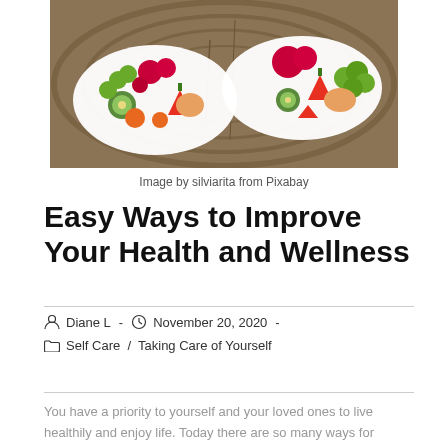[Figure (photo): Two white heart-shaped bowls filled with mixed fresh fruit including raspberries, strawberries, kiwi, grapes, and cantaloupe, placed on a rustic wooden surface.]
Image by silviarita from Pixabay
Easy Ways to Improve Your Health and Wellness
Diane L  -  November 20, 2020  -
Self Care  /  Taking Care of Yourself
You have a priority to yourself and your loved ones to live healthily and enjoy life. Today there are so many ways for